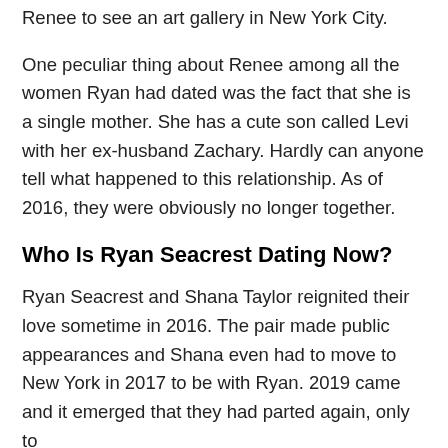Renee to see an art gallery in New York City.
One peculiar thing about Renee among all the women Ryan had dated was the fact that she is a single mother. She has a cute son called Levi with her ex-husband Zachary. Hardly can anyone tell what happened to this relationship. As of 2016, they were obviously no longer together.
Who Is Ryan Seacrest Dating Now?
Ryan Seacrest and Shana Taylor reignited their love sometime in 2016. The pair made public appearances and Shana even had to move to New York in 2017 to be with Ryan. 2019 came and it emerged that they had parted again, only to